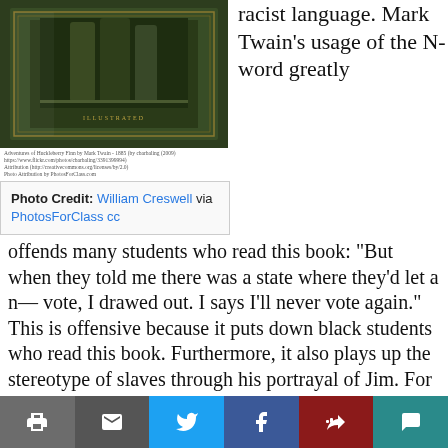[Figure (photo): A worn/aged book cover, appearing to be Adventures of Huckleberry Finn by Mark Twain, with gold lettering on a dark green cover]
Photo Credit: William Creswell via PhotosForClass cc
racist language. Mark Twain's usage of the N-word greatly offends many students who read this book: “But when they told me there was a state where they’d let a n— vote, I drawed out. I says I’ll never vote again.” This is offensive because it puts down black students who read this book. Furthermore, it also plays up the stereotype of slaves through his portrayal of Jim. For example, Jim talks differently than the rest of the characters throughout the book and he’s being portrayed as dumber than the rest by the way he talks. “I tuck out en shin down de